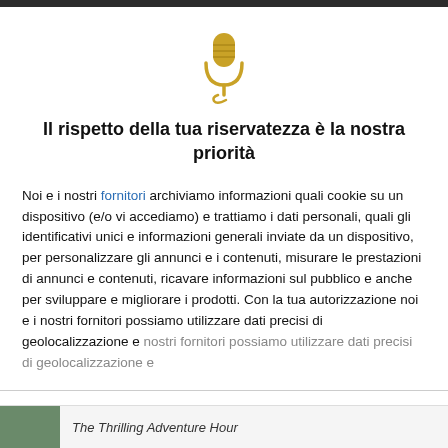[Figure (illustration): Golden microphone icon with decorative swirl]
Il rispetto della tua riservatezza è la nostra priorità
Noi e i nostri fornitori archiviamo informazioni quali cookie su un dispositivo (e/o vi accediamo) e trattiamo i dati personali, quali gli identificativi unici e informazioni generali inviate da un dispositivo, per personalizzare gli annunci e i contenuti, misurare le prestazioni di annunci e contenuti, ricavare informazioni sul pubblico e anche per sviluppare e migliorare i prodotti. Con la tua autorizzazione noi e i nostri fornitori possiamo utilizzare dati precisi di geolocalizzazione e
ACCETTO
PIÙ OPZIONI